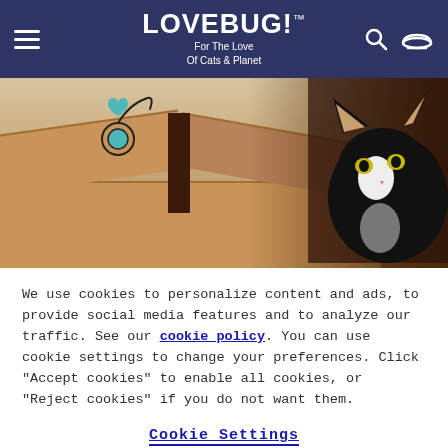LOVEBUG! For The Love Of Cats & Planet
[Figure (photo): Hero image of a black and white cat peeking over the edge of a cardboard box, with decorative swirl illustrations in the upper left corner]
We use cookies to personalize content and ads, to provide social media features and to analyze our traffic. See our cookie policy. You can use cookie settings to change your preferences. Click "Accept cookies" to enable all cookies, or "Reject cookies" if you do not want them.
Cookie Settings
Reject Cookies